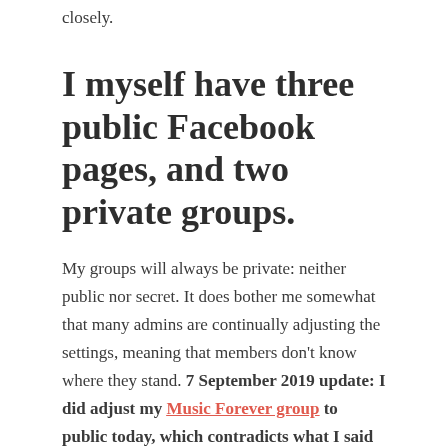closely.
I myself have three public Facebook pages, and two private groups.
My groups will always be private: neither public nor secret. It does bother me somewhat that many admins are continually adjusting the settings, meaning that members don't know where they stand. 7 September 2019 update: I did adjust my Music Forever group to public today, which contradicts what I said here – but that's the way it goes, and I felt that public was the best setting for that particular group.
You can find me on social media, via this post, which provides details of my Facebook pages and groups, as well as links to my other social media profiles.